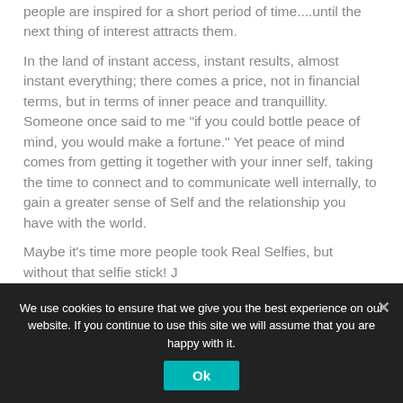people are inspired for a short period of time....until the next thing of interest attracts them.
In the land of instant access, instant results, almost instant everything; there comes a price, not in financial terms, but in terms of inner peace and tranquillity. Someone once said to me “if you could bottle peace of mind, you would make a fortune.” Yet peace of mind comes from getting it together with your inner self, taking the time to connect and to communicate well internally, to gain a greater sense of Self and the relationship you have with the world.
Maybe it’s time more people took Real Selfies, but without that selfie stick! J
#RealSelfie
We use cookies to ensure that we give you the best experience on our website. If you continue to use this site we will assume that you are happy with it.